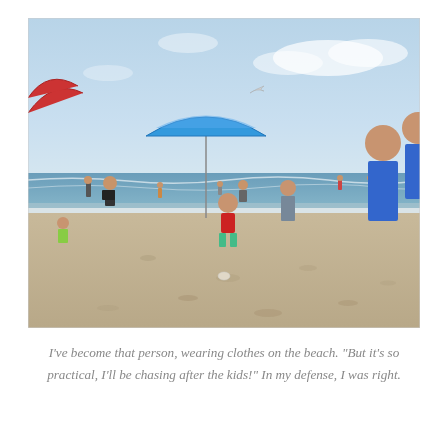[Figure (photo): Beach scene with people on sand and in water. A young girl in a red swimsuit walks toward the water. A blue beach umbrella is in the mid-left area. A seagull flies overhead. Adults and children are scattered across the beach and at the water's edge. A man in blue shorts stands on the far right. A red umbrella is partially visible at the top left. Light blue sky with some clouds. Sandy beach in foreground.]
I've become that person, wearing clothes on the beach. "But it's so practical, I'll be chasing after the kids!" In my defense, I was right.